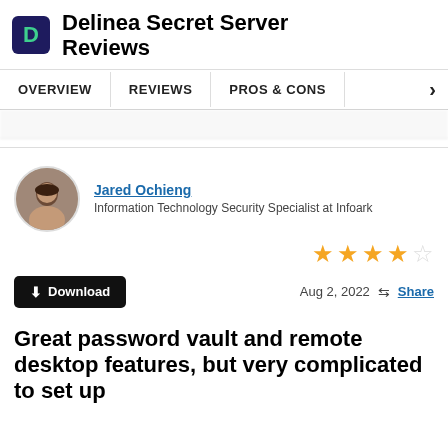Delinea Secret Server Reviews
OVERVIEW | REVIEWS | PROS & CONS
Jared Ochieng
Information Technology Security Specialist at Infoark
4 out of 5 stars
Download | Aug 2, 2022 | Share
Great password vault and remote desktop features, but very complicated to set up